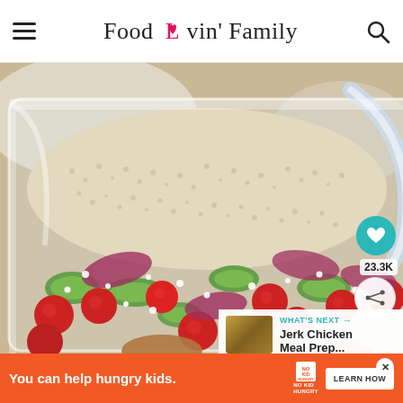Food Lovin' Family
[Figure (photo): Close-up photo of a glass meal prep container filled with couscous/small grain, cherry tomatoes, sliced cucumber, red onion, and crumbled feta cheese with what appears to be seasoned chicken or meatballs at the bottom. A glass container lid is partially visible. Social sharing buttons (heart icon with 23.3K count and share icon) are overlaid on the right side.]
23.3K
WHAT'S NEXT → Jerk Chicken Meal Prep...
You can help hungry kids.
LEARN HOW